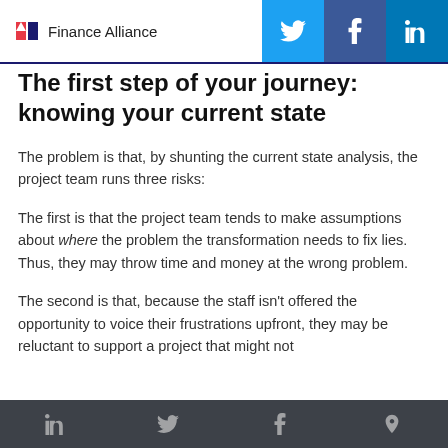Finance Alliance
The first step of your journey: knowing your current state
The problem is that, by shunting the current state analysis, the project team runs three risks:
The first is that the project team tends to make assumptions about where the problem the transformation needs to fix lies. Thus, they may throw time and money at the wrong problem.
The second is that, because the staff isn't offered the opportunity to voice their frustrations upfront, they may be reluctant to support a project that might not
LinkedIn Twitter Facebook